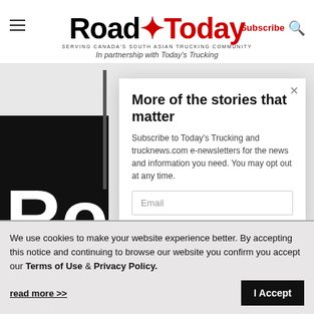[Figure (logo): Road Today logo with maple leaf — 'Road' in black, maple leaf and 'Today' in red, tagline 'SERVING CANADA'S SOUTH ASIAN TRUCKING COMMUNITY']
In partnership with Today's Trucking
More of the stories that matter
Subscribe to Today's Trucking and trucknews.com e-newsletters for the news and information you need. You may opt out at any time.
We use cookies to make your website experience better. By accepting this notice and continuing to browse our website you confirm you accept our Terms of Use & Privacy Policy.
read more >>
I Accept